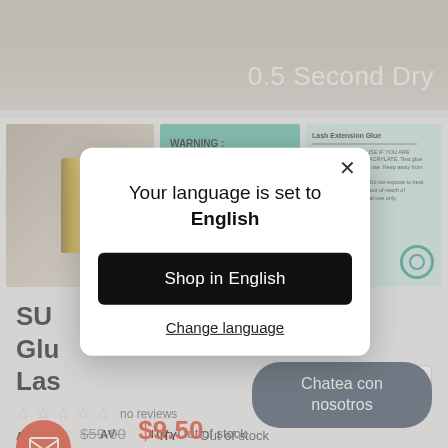[Figure (screenshot): Product page screenshot showing a beauty/glue product with top banner text '0.5 Second Dry', middle strip of product images including a gold cylinder, teal warning card, and instruction card. Below shows partial product title starting with 'SU', 'Glu', 'Las', star ratings with 'no reviews', availability 'Out of stock', old price $59.90 and new price $9.50, email icon button, and chat button 'Chatea con nosotros'.]
Your language is set to English
Shop in English
Change language